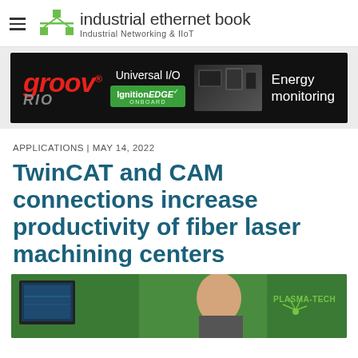industrial ethernet book — Industrial Networking & IIoT
[Figure (photo): groov RIO advertisement banner — black background with groov RIO logo in red italic, Universal I/O text, IgnitionEDGE ONBOARD badge in green, industrial device images, and Energy monitoring text on the right]
APPLICATIONS | MAY 14, 2022
TwinCAT and CAM connections increase productivity of fiber laser machining centers
[Figure (photo): Photo of a man in front of green PLASMA-TECH branded equipment with a control panel display screen visible]